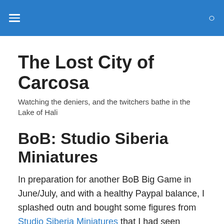The Lost City of Carcosa
Watching the deniers, and the twitchers bathe in the Lake of Hali
BoB: Studio Siberia Miniatures
In preparation for another BoB Big Game in June/July, and with a healthy Paypal balance, I splashed outn and bought some figures from Studio Siberia Miniatures that I had seen advertised on the Lead Adventure Forum.
I bought a mix of Kalem Command Photos with...